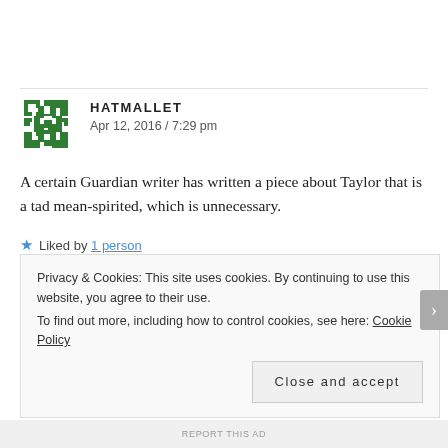HATMALLET
Apr 12, 2016 / 7:29 pm
A certain Guardian writer has written a piece about Taylor that is a tad mean-spirited, which is unnecessary.
Liked by 1 person
Reply
Privacy & Cookies: This site uses cookies. By continuing to use this website, you agree to their use.
To find out more, including how to control cookies, see here: Cookie Policy
Close and accept